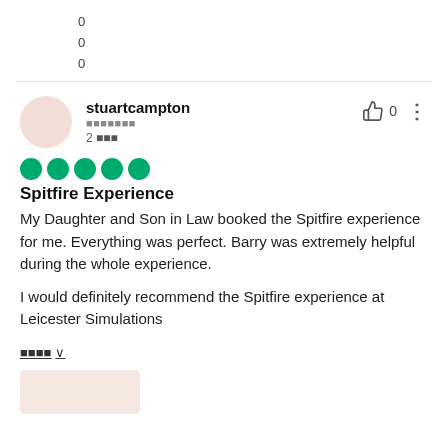00  0
00  0
000  0
stuartcampton
0000000
2 000
[Figure (other): 5 green filled circles representing a 5-star rating]
Spitfire Experience
My Daughter and Son in Law booked the Spitfire experience for me. Everything was perfect. Barry was extremely helpful during the whole experience.

I would definitely recommend the Spitfire experience at Leicester Simulations
0000 ∨
[Figure (photo): Partial image thumbnail at bottom left, light beige/peach color]